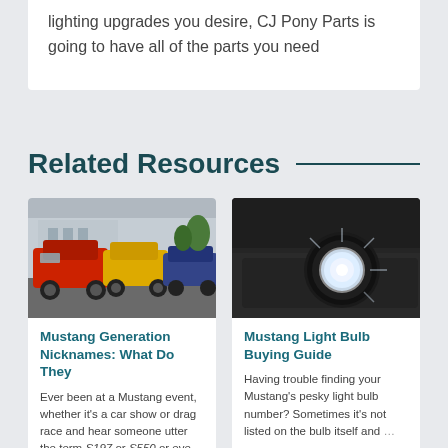lighting upgrades you desire, CJ Pony Parts is going to have all of the parts you need
Related Resources
[Figure (photo): Row of colorful Mustang cars (red, yellow, blue) parked in front of a building, shot from a low angle]
Mustang Generation Nicknames: What Do They
Ever been at a Mustang event, whether it's a car show or drag race and hear someone utter the term S197 or S550 or even …
[Figure (photo): Close-up of a bright white fog light on a dark Mustang bumper]
Mustang Light Bulb Buying Guide
Having trouble finding your Mustang's pesky light bulb number? Sometimes it's not listed on the bulb itself and …